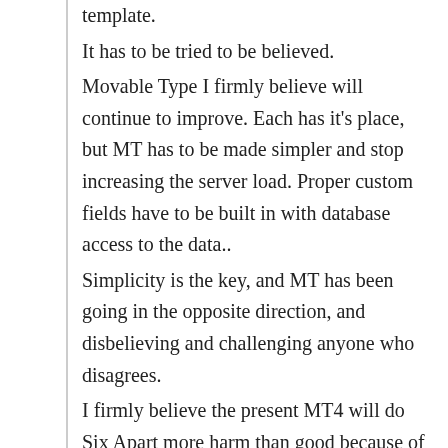template.

It has to be tried to be believed.

Movable Type I firmly believe will continue to improve. Each has it's place, but MT has to be made simpler and stop increasing the server load. Proper custom fields have to be built in with database access to the data..

Simplicity is the key, and MT has been going in the opposite direction, and disbelieving and challenging anyone who disagrees.

I firmly believe the present MT4 will do Six Apart more harm than good because of being too complex, causing too much server load, poor documentation, and once again breaking plugins and addons from previous releases. Add on the